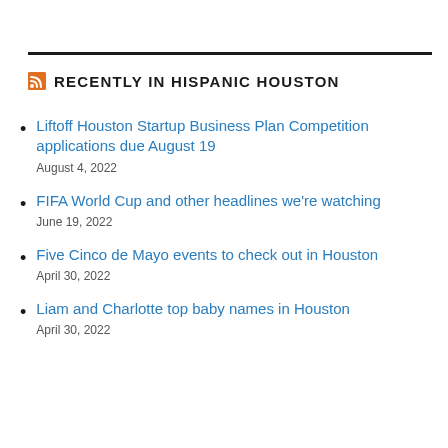RECENTLY IN HISPANIC HOUSTON
Liftoff Houston Startup Business Plan Competition applications due August 19
August 4, 2022
FIFA World Cup and other headlines we're watching
June 19, 2022
Five Cinco de Mayo events to check out in Houston
April 30, 2022
Liam and Charlotte top baby names in Houston
April 30, 2022